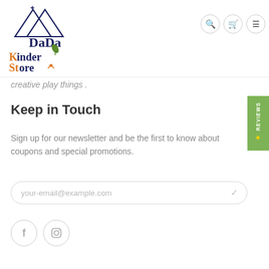[Figure (logo): DaDa Kinder Store logo with stylized tent/mountain shape in navy and orange text]
creative play things .
Keep in Touch
Sign up for our newsletter and be the first to know about coupons and special promotions.
your-email@example.com
[Figure (illustration): Social media icons: Facebook and Instagram circular outline buttons]